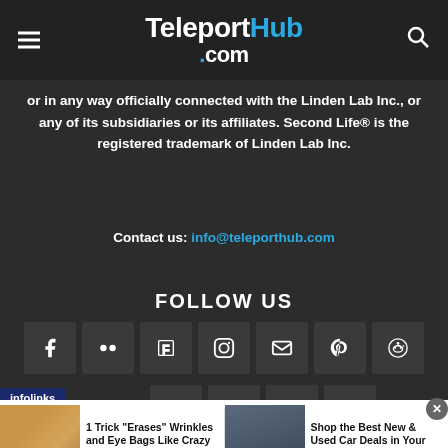TeleportHub .com
or in any way officially connected with the Linden Lab Inc., or any of its subsidiaries or its affiliates. Second Life® is the registered trademark of Linden Lab Inc.
Contact us: info@teleporthub.com
FOLLOW US
[Figure (infographic): Row of social media icons: Facebook, Flickr, Flipboard, Instagram, Email, Pinterest, Reddit]
[Figure (infographic): Infolinks bar and additional social icons row including Tumblr, Twitter, and another icon]
[Figure (infographic): Ad banner: '1 Trick Erases Wrinkles and Eye Bags Like Crazy (Now Available in Us)' by Wellness Guide 101 and 'Shop the Best New & Used Car Deals in Your Area?' by Car Deals Near You]